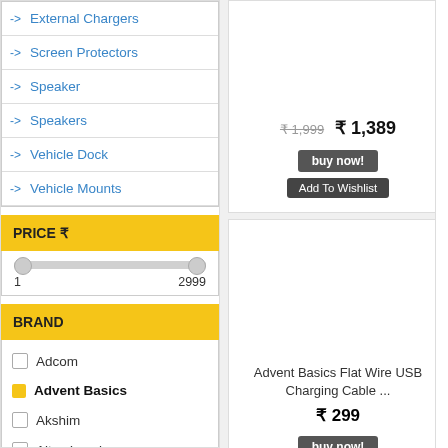-> External Chargers
-> Screen Protectors
-> Speaker
-> Speakers
-> Vehicle Dock
-> Vehicle Mounts
PRICE ₹
1   2999
BRAND
Adcom
Advent Basics (selected)
Akshim
Altec Lansing
₹ 1,999  ₹ 1,389
buy now!
Add To Wishlist
Advent Basics Flat Wire USB Charging Cable ...
₹ 299
buy now!
Add To Wishlist